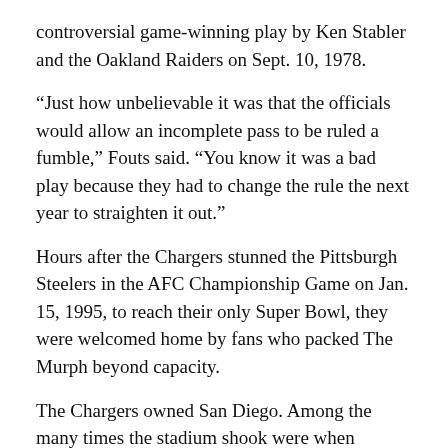controversial game-winning play by Ken Stabler and the Oakland Raiders on Sept. 10, 1978.
“Just how unbelievable it was that the officials would allow an incomplete pass to be ruled a fumble,” Fouts said. “You know it was a bad play because they had to change the rule the next year to straighten it out.”
Hours after the Chargers stunned the Pittsburgh Steelers in the AFC Championship Game on Jan. 15, 1995, to reach their only Super Bowl, they were welcomed home by fans who packed The Murph beyond capacity.
The Chargers owned San Diego. Among the many times the stadium shook were when LaDainian Tomlinson set the NFL’s single-season touchdown record in 2006 and when Darren Sproles scored in overtime to upset Peyton Manning and the Indianapolis Colts in the 2009 playoffs.